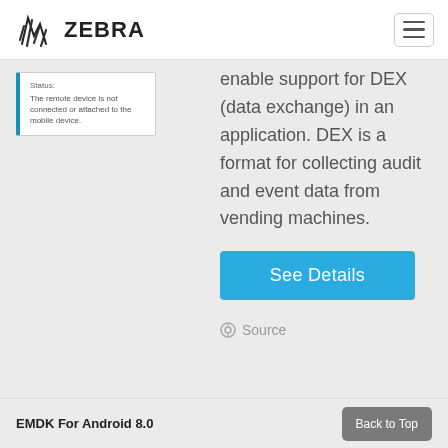ZEBRA
[Figure (screenshot): Status panel showing: Status: The remote device is not connected or attached to the mobile device]
enable support for DEX (data exchange) in an application. DEX is a format for collecting audit and event data from vending machines.
See Details
Source
EMDK For Android 8.0
Back to Top